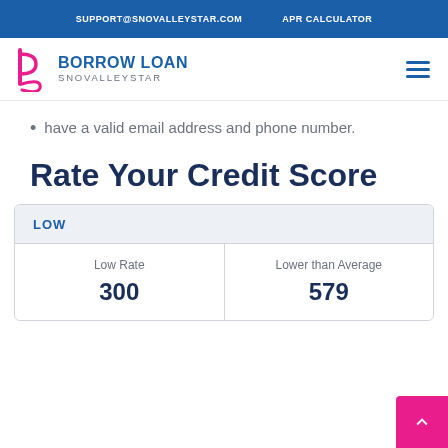SUPPORT@SNOVALLEYSTAR.COM   APR CALCULATOR
[Figure (logo): Borrow Loan Snovalleystar logo with stylized 'b' icon in pink/magenta]
have a valid email address and phone number.
Rate Your Credit Score
| LOW |  |  |
| --- | --- | --- |
| Low Rate | Lower than Average |  |
| 300 | 579 |  |